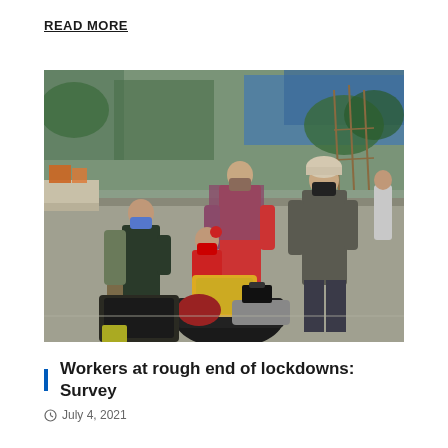READ MORE
[Figure (photo): A family wearing face masks with luggage on a street, appearing to be migrant workers during COVID-19 lockdown. Two children and two adults are visible, surrounded by bags and belongings.]
Workers at rough end of lockdowns: Survey
July 4, 2021